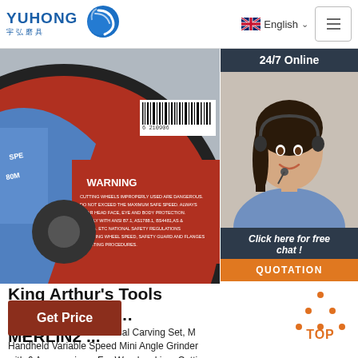YUHONG 宇弘磨具 | English | Navigation
[Figure (photo): Grinding/cutting disc with WARNING label showing safety instructions, barcode visible top right. Red and blue colored abrasive wheel.]
[Figure (photo): 24/7 Online chat sidebar with female customer service agent wearing headset, smiling. Below: 'Click here for free chat!' and orange QUOTATION button.]
King Arthur's Tools Universal Carving Set, MERLIN2 ...
King Arthur's Tools Universal Carving Set, MERLIN2, Handheld Variable Speed Mini Angle Grinder with 6 Accessories – For Woodworking, Cutting, Sanding, Grinding, Carving, Engraving # 10005 - - ...
Get Price
[Figure (illustration): TOP navigation icon — orange dots forming a triangle above the text TOP in orange]